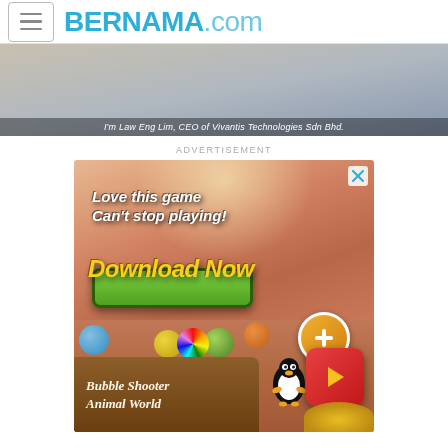BERNAMA.com
[Figure (screenshot): Video screenshot of a person in a light blue shirt with caption: I'm Law Eng Lim, CEO of Vivantis Technologies Sdn Bhd.]
ADVERTISEMENT
[Figure (photo): Mobile game advertisement for Bubble Shooter Animal World with text 'Love this game Can't stop playing! Download Now']